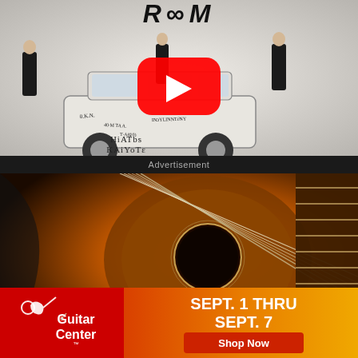[Figure (screenshot): YouTube video thumbnail showing Hiatus Kaiyote music video for 'Room'. Scene shows an old station wagon covered in handwritten text, with three people in dark clothing standing around it in a white studio. The word 'ROOM' is written at the top in rough lettering, and 'HIATUS KAIYOTE' is written below the car. A large red YouTube play button overlay is centered on the image.]
Advertisement
[Figure (screenshot): Guitar Center advertisement. Top portion shows a close-up photo of an acoustic guitar body with warm orange/amber tones. Bottom banner has Guitar Center logo on red background on the left, and promotional text 'SEPT. 1 THRU SEPT. 7' with a 'Shop Now' button on a gradient orange-to-gold background on the right. An X close button is visible in the top right corner.]